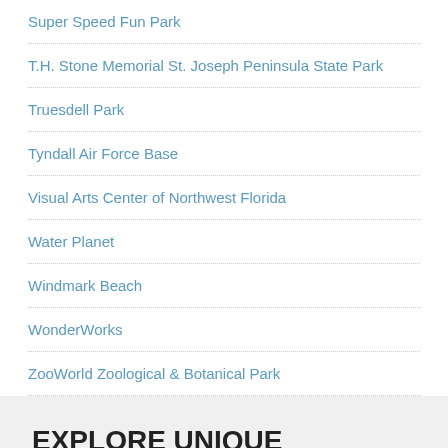Super Speed Fun Park
T.H. Stone Memorial St. Joseph Peninsula State Park
Truesdell Park
Tyndall Air Force Base
Visual Arts Center of Northwest Florida
Water Planet
Windmark Beach
WonderWorks
ZooWorld Zoological & Botanical Park
EXPLORE UNIQUE NEIGHBORHOODS AROUND PANAMA CITY (AND VICINITY), FLORIDA